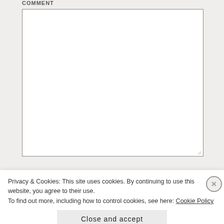COMMENT
[Figure (screenshot): Empty comment text area input box with resize handle in bottom-right corner]
NAME *
[Figure (screenshot): Name text input field with blue border]
Privacy & Cookies: This site uses cookies. By continuing to use this website, you agree to their use.
To find out more, including how to control cookies, see here: Cookie Policy
Close and accept